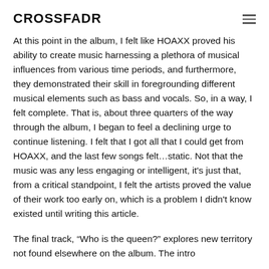CROSSFADR
At this point in the album, I felt like HOAXX proved his ability to create music harnessing a plethora of musical influences from various time periods, and furthermore, they demonstrated their skill in foregrounding different musical elements such as bass and vocals. So, in a way, I felt complete. That is, about three quarters of the way through the album, I began to feel a declining urge to continue listening. I felt that I got all that I could get from HOAXX, and the last few songs felt…static. Not that the music was any less engaging or intelligent, it's just that, from a critical standpoint, I felt the artists proved the value of their work too early on, which is a problem I didn't know existed until writing this article.
The final track, “Who is the queen?” explores new territory not found elsewhere on the album. The intro